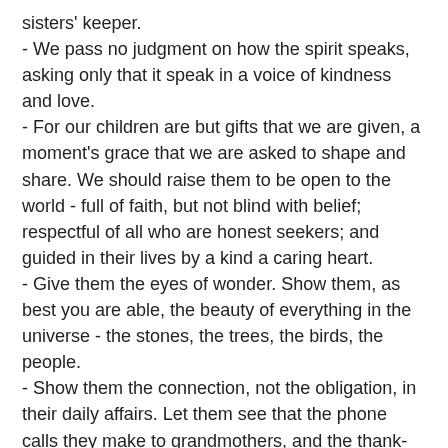sisters' keeper.
- We pass no judgment on how the spirit speaks, asking only that it speak in a voice of kindness and love.
- For our children are but gifts that we are given, a moment's grace that we are asked to shape and share. We should raise them to be open to the world - full of faith, but not blind with belief; respectful of all who are honest seekers; and guided in their lives by a kind a caring heart.
- Give them the eyes of wonder. Show them, as best you are able, the beauty of everything in the universe - the stones, the trees, the birds, the people.
- Show them the connection, not the obligation, in their daily affairs. Let them see that the phone calls they make to grandmothers, and the thank-you notes they write to people they barely know, are really gossamer threads strung between hearts. Teach them that a life of service is a life of peace, and that a small faith can be as powerful as a large belief.
There was a story in particular that stood out about a girl who he befriended. She told him at her eighth grade graduation, "Thanks for paying attention to me, even though